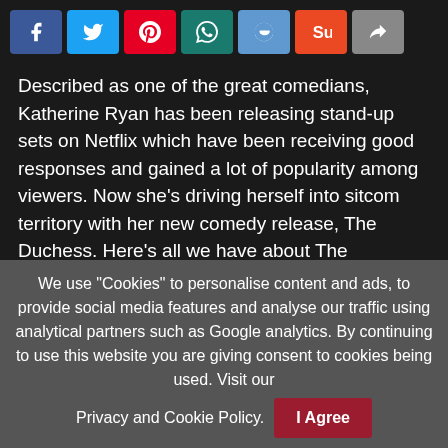[Figure (other): Social media sharing buttons: Facebook, Twitter, Pinterest, WhatsApp, Reddit, StumbleUpon, Share]
Described as one of the great comedians, Katherine Ryan has been releasing stand-up sets on Netflix which have been receiving good responses and gained a lot of popularity among viewers. Now she's driving herself into sitcom territory with her new comedy release, The Duchess. Here's all we have about The Duchess.
The Duchess Release Date
We use "Cookies" to personalise content and ads, to provide social media features and analyse our traffic using analytical partners such as Google analytics. By continuing to use this website you are giving consent to cookies being used. Visit our Privacy and Cookie Policy.